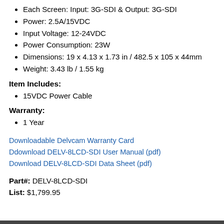Each Screen: Input: 3G-SDI & Output: 3G-SDI
Power: 2.5A/15VDC
Input Voltage: 12-24VDC
Power Consumption: 23W
Dimensions: 19 x 4.13 x 1.73 in / 482.5 x 105 x 44mm
Weight: 3.43 lb / 1.55 kg
Item Includes:
15VDC Power Cable
Warranty:
1 Year
Downloadable Delvcam Warranty Card
Ddownload DELV-8LCD-SDI User Manual (pdf)
Download DELV-8LCD-SDI Data Sheet (pdf)
Part#: DELV-8LCD-SDI
List: $1,799.95